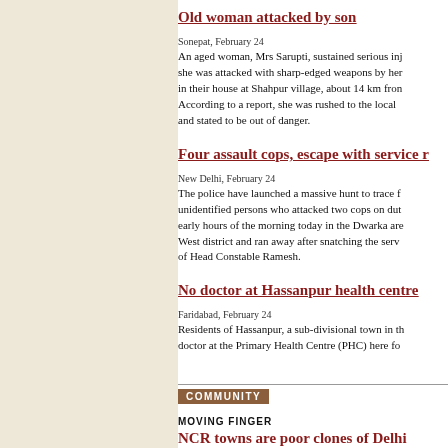Old woman attacked by son
Sonepat, February 24
An aged woman, Mrs Sarupti, sustained serious inj she was attacked with sharp-edged weapons by her in their house at Shahpur village, about 14 km fron According to a report, she was rushed to the local and stated to be out of danger.
Four assault cops, escape with service r
New Delhi, February 24
The police have launched a massive hunt to trace f unidentified persons who attacked two cops on dut early hours of the morning today in the Dwarka are West district and ran away after snatching the serv of Head Constable Ramesh.
No doctor at Hassanpur health centre
Faridabad, February 24
Residents of Hassanpur, a sub-divisional town in th doctor at the Primary Health Centre (PHC) here fo
COMMUNITY
MOVING FINGER
NCR towns are poor clones of Delhi